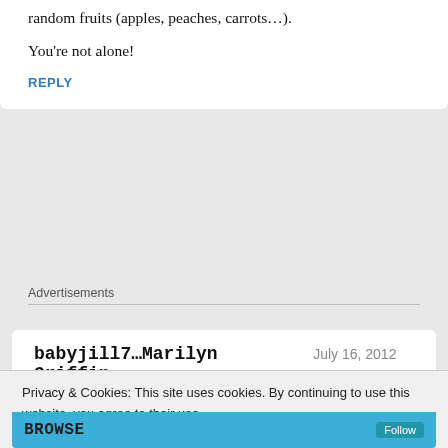random fruits (apples, peaches, carrots…).
You're not alone!
REPLY
Advertisements
babyjill7…Marilyn Griffin  July 16, 2012 —
Privacy & Cookies: This site uses cookies. By continuing to use this website, you agree to their use.
To find out more, including how to control cookies, see here: Cookie Policy
Close and accept